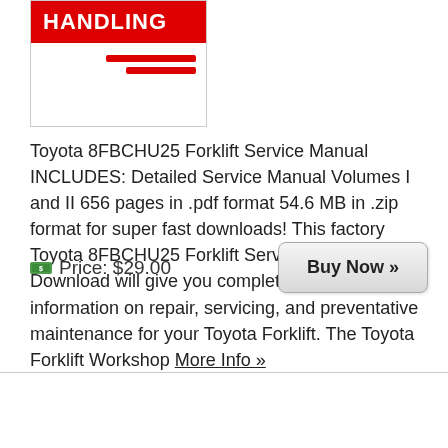[Figure (illustration): Book cover thumbnail showing red banner with text HANDLING and red decorative lines below]
Toyota 8FBCHU25 Forklift Service Manual INCLUDES: Detailed Service Manual Volumes I and II 656 pages in .pdf format 54.6 MB in .zip format for super fast downloads! This factory Toyota 8FBCHU25 Forklift Service Manual Download will give you complete step-by-step information on repair, servicing, and preventative maintenance for your Toyota Forklift. The Toyota Forklift Workshop More Info »
💵 Price: $29.00
Buy Now »